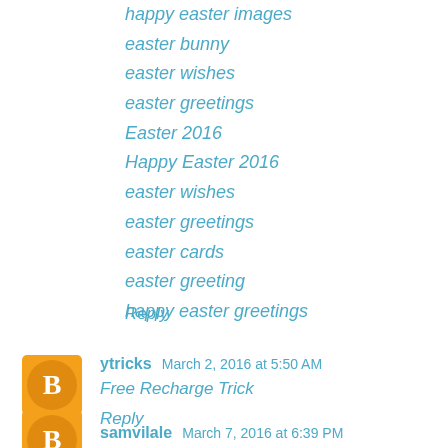happy easter images
easter bunny
easter wishes
easter greetings
Easter 2016
Happy Easter 2016
easter wishes
easter greetings
easter cards
easter greeting
happy easter greetings
Reply
ytricks   March 2, 2016 at 5:50 AM
Free Recharge Trick
Reply
samvilale   March 7, 2016 at 6:39 PM